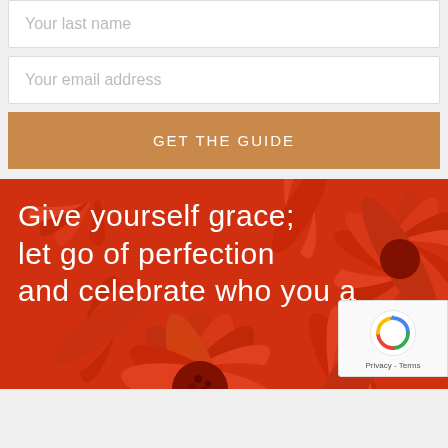Your last name
Your email address
GET THE GUIDE
[Figure (photo): Close-up of orange/red chrysanthemum flowers with white text overlay reading 'Give yourself grace; let go of perfection and celebrate who you a...' and a reCAPTCHA badge in the bottom right corner]